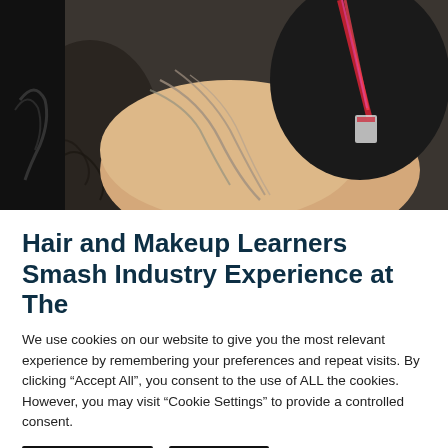[Figure (photo): A selfie-style photo showing a person with tattoos wearing a dark t-shirt and a red/pink lanyard, at what appears to be an industry event or trade show.]
Hair and Makeup Learners Smash Industry Experience at The
We use cookies on our website to give you the most relevant experience by remembering your preferences and repeat visits. By clicking “Accept All”, you consent to the use of ALL the cookies. However, you may visit “Cookie Settings” to provide a controlled consent.
Cookie Settings | Accept All